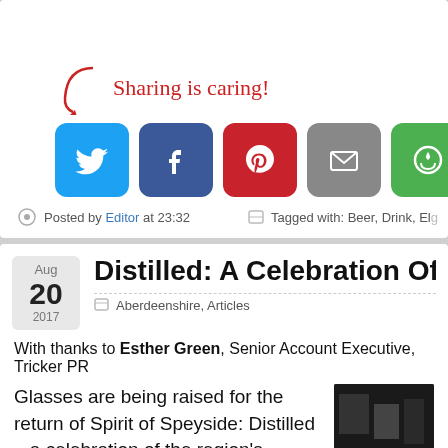[Figure (screenshot): Social sharing buttons: Twitter (blue), Facebook (dark blue), Pinterest (red), Email (grey), Share (green), with 'Sharing is caring!' text in red handwriting style and a red arrow pointing to buttons]
Posted by Editor at 23:32
Tagged with: Beer, Drink, El...
Aug 20 2017
Distilled: A Celebration Of Whisky,
Aberdeenshire, Articles
With thanks to Esther Green, Senior Account Executive, Tricker PR
Glasses are being raised for the return of Spirit of Speyside: Distilled – a celebration of the region's